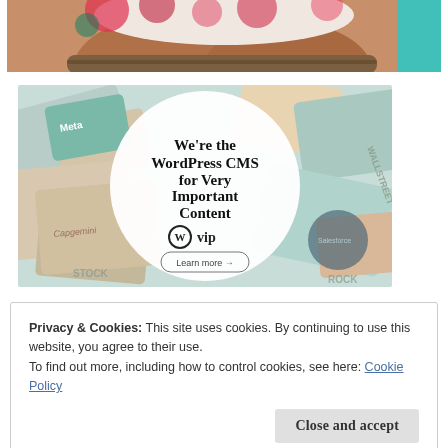[Figure (photo): Cropped photo showing bottom half of a person wearing a floral dress, seated, with teal background]
[Figure (screenshot): WordPress VIP advertisement showing colorful cards in background, white circle overlay with text 'We're the WordPress CMS for Very Important Content', WordPress VIP logo, and 'Learn more' button]
Privacy & Cookies: This site uses cookies. By continuing to use this website, you agree to their use.
To find out more, including how to control cookies, see here: Cookie Policy
Close and accept